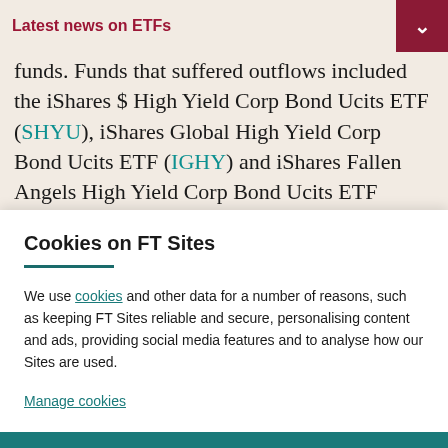Latest news on ETFs
funds. Funds that suffered outflows included the iShares $ High Yield Corp Bond Ucits ETF (SHYU), iShares Global High Yield Corp Bond Ucits ETF (IGHY) and iShares Fallen Angels High Yield Corp Bond Ucits ETF (RISE), which seeks to invest in debt that has been downgraded
Cookies on FT Sites
We use cookies and other data for a number of reasons, such as keeping FT Sites reliable and secure, personalising content and ads, providing social media features and to analyse how our Sites are used.
Manage cookies
Accept & continue